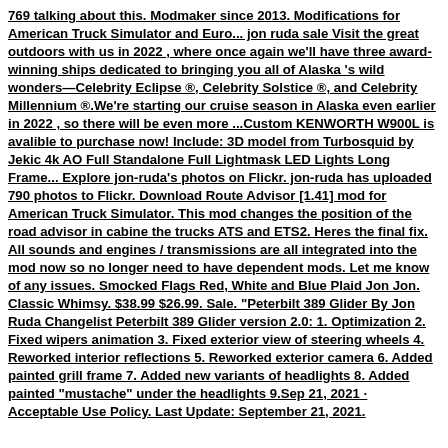769 talking about this. Modmaker since 2013. Modifications for American Truck Simulator and Euro... jon ruda sale Visit the great outdoors with us in 2022 , where once again we'll have three award-winning ships dedicated to bringing you all of Alaska 's wild wonders—Celebrity Eclipse ®, Celebrity Solstice ®, and Celebrity Millennium ®.We're starting our cruise season in Alaska even earlier in 2022 , so there will be even more ...Custom KENWORTH W900L is avalible to purchase now! Include: 3D model from Turbosquid by Jekic 4k AO Full Standalone Full Lightmask LED Lights Long Frame... Explore jon-ruda's photos on Flickr. jon-ruda has uploaded 790 photos to Flickr. Download Route Advisor [1.41] mod for American Truck Simulator. This mod changes the position of the road advisor in cabine the trucks ATS and ETS2. Heres the final fix. All sounds and engines / transmissions are all integrated into the mod now so no longer need to have dependent mods. Let me know of any issues. Smocked Flags Red, White and Blue Plaid Jon Jon. Classic Whimsy. $38.99 $26.99. Sale. "Peterbilt 389 Glider By Jon Ruda Changelist Peterbilt 389 Glider version 2.0: 1. Optimization 2. Fixed wipers animation 3. Fixed exterior view of steering wheels 4. Reworked interior reflections 5. Reworked exterior camera 6. Added painted grill frame 7. Added new variants of headlights 8. Added painted "mustache" under the headlights 9.Sep 21, 2021 · Acceptable Use Policy. Last Update: September 21, 2021.